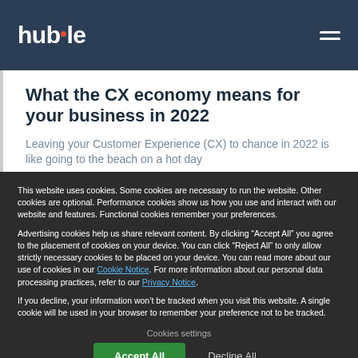huble
What the CX economy means for your business in 2022
Leaving your Customer Experience (CX) to chance in 2022 is like going to the beach on a hot day
This website uses cookies. Some cookies are necessary to run the website. Other cookies are optional. Performance cookies show us how you use and interact with our website and features. Functional cookies remember your preferences.
Advertising cookies help us share relevant content. By clicking “Accept All” you agree to the placement of cookies on your device. You can click “Reject All” to only allow strictly necessary cookies to be placed on your device. You can read more about our use of cookies in our Cookie Notice. For more information about our personal data processing practices, refer to our Privacy Notice.
If you decline, your information won’t be tracked when you visit this website. A single cookie will be used in your browser to remember your preference not to be tracked.
Cookies settings
Accept All
Decline All